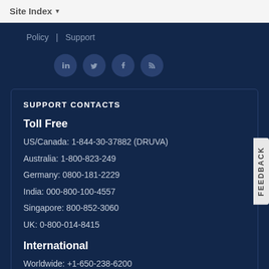Site Index
Policy | Support
[Figure (illustration): Social media icons: LinkedIn, Twitter, Facebook, RSS feed — circular dark blue buttons]
SUPPORT CONTACTS
Toll Free
US/Canada: 1-844-30-37882 (DRUVA)
Australia: 1-800-823-249
Germany: 0800-181-2229
India: 000-800-100-4557
Singapore: 800-852-3060
UK: 0-800-014-8415
International
Worldwide: +1-650-238-6200